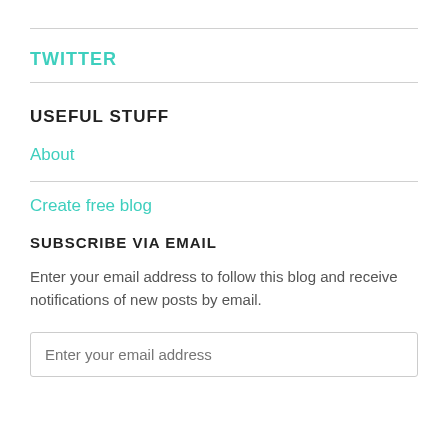TWITTER
USEFUL STUFF
About
Create free blog
SUBSCRIBE VIA EMAIL
Enter your email address to follow this blog and receive notifications of new posts by email.
Enter your email address